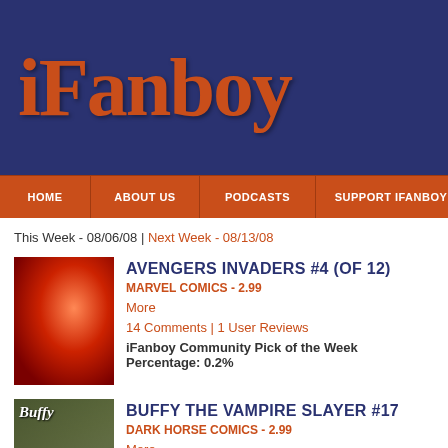iFanboy
HOME | ABOUT US | PODCASTS | SUPPORT IFANBOY | THANK YOU
This Week - 08/06/08 | Next Week - 08/13/08
[Figure (illustration): Comic book cover for Avengers Invaders #4]
AVENGERS INVADERS #4 (OF 12)
MARVEL COMICS - 2.99
More
14 Comments | 1 User Reviews
iFanboy Community Pick of the Week Percentage: 0.2%
[Figure (illustration): Comic book cover for Buffy The Vampire Slayer #17]
BUFFY THE VAMPIRE SLAYER #17
DARK HORSE COMICS - 2.99
More